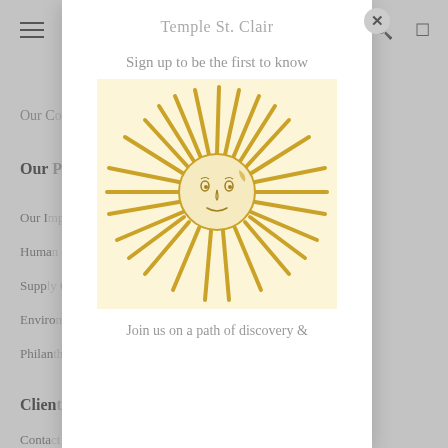[Figure (screenshot): Website screenshot showing Temple St. Clair jewelry brand page with navigation menu items including Our Collections, Our Philosophy, Our Impact, Human Rights, Supply Chain, Environment, Philanthropy, Client Services, and Contact links visible on a gray background]
Temple St. Clair
Sign up to be the first to know
[Figure (illustration): Golden sun illustration with radiating rays and a face in the center, on a pale yellow square background — the Temple St. Clair brand logo/emblem]
Join us on a path of discovery &